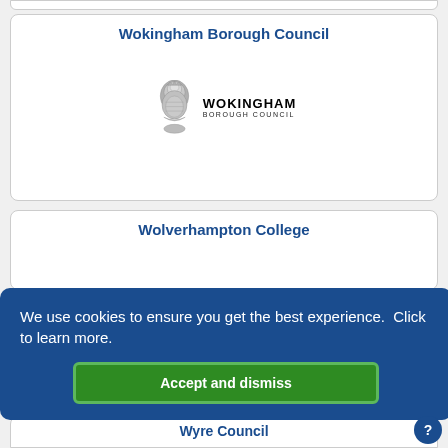Wokingham Borough Council
[Figure (logo): Wokingham Borough Council coat of arms logo with text 'WOKINGHAM BOROUGH COUNCIL']
Wolverhampton College
We use cookies to ensure you get the best experience.  Click to learn more.
Accept and dismiss
Wyre Council